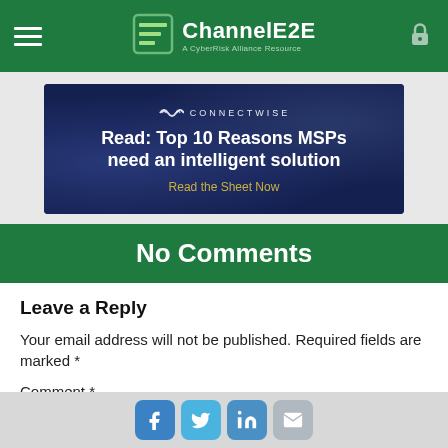ChannelE2E — A CyberRisk Alliance Resource
[Figure (illustration): ConnectWise advertisement banner: dark blue background with ConnectWise logo, headline 'Read: Top 10 Reasons MSPs need an intelligent solution', CTA 'Read the Sheet Now']
No Comments
Leave a Reply
Your email address will not be published. Required fields are marked *
Comment *
Social share icons: Facebook, Twitter, LinkedIn, Email